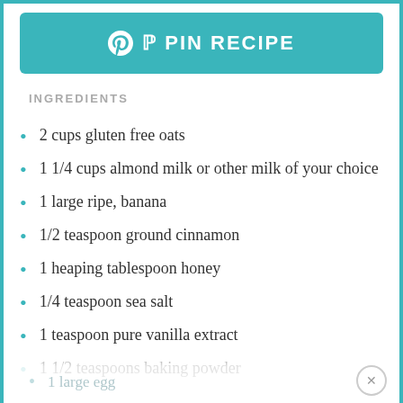[Figure (other): Teal PIN RECIPE button with Pinterest icon]
INGREDIENTS
2 cups gluten free oats
1 1/4 cups almond milk or other milk of your choice
1 large ripe, banana
1/2 teaspoon ground cinnamon
1 heaping tablespoon honey
1/4 teaspoon sea salt
1 teaspoon pure vanilla extract
1 1/2 teaspoons baking powder
1 large egg